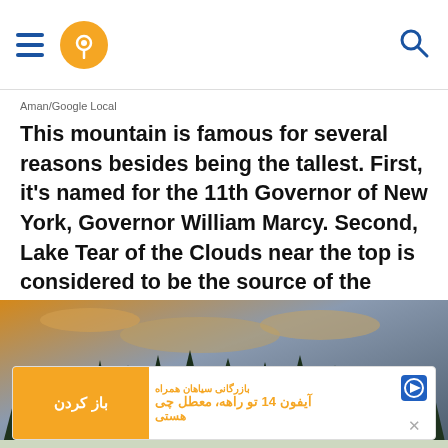Navigation bar with hamburger menu, location pin icon, and search icon
Aman/Google Local
This mountain is famous for several reasons besides being the tallest. First, it's named for the 11th Governor of New York, Governor William Marcy. Second, Lake Tear of the Clouds near the top is considered to be the source of the Hudson River.
[Figure (photo): Forest/mountain landscape photo with evergreen trees and dramatic cloudy sky at dusk, golden and gray tones]
[Figure (screenshot): Advertisement banner in Persian/Farsi for a business, with orange button labeled 'باز کردن' (Open), text about iPhone 14, logos and close button]